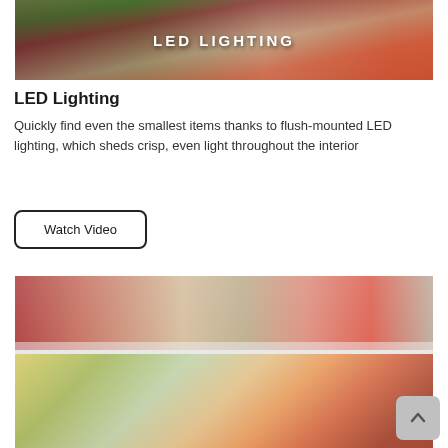[Figure (photo): Refrigerator interior with vegetables and orange juice container. Text overlay reads 'LED LIGHTING' in white capital letters.]
LED Lighting
Quickly find even the smallest items thanks to flush-mounted LED lighting, which sheds crisp, even light throughout the interior
Watch Video
[Figure (photo): Refrigerator shelves showing food storage containers with vegetables, carrots in a bag, and other produce items organized on shelves.]